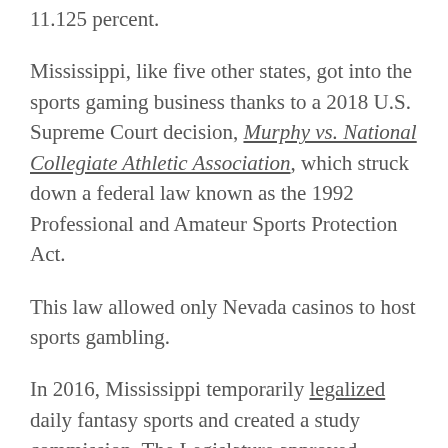11.125 percent.
Mississippi, like five other states, got into the sports gaming business thanks to a 2018 U.S. Supreme Court decision, Murphy vs. National Collegiate Athletic Association, which struck down a federal law known as the 1992 Professional and Amateur Sports Protection Act.
This law allowed only Nevada casinos to host sports gambling.
In 2016, Mississippi temporarily legalized daily fantasy sports and created a study commission. The Legislature approved permanent legislation in 2017 that